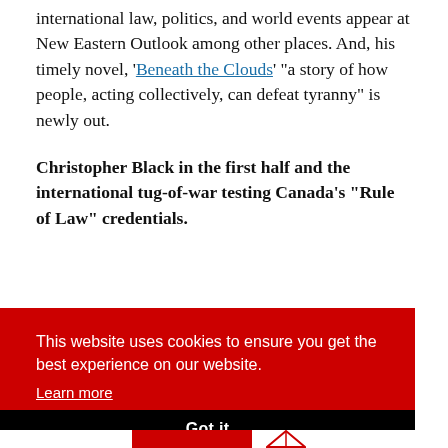international law, politics, and world events appear at New Eastern Outlook among other places. And, his timely novel, 'Beneath the Clouds' "a story of how people, acting collectively, can defeat tyranny" is newly out.
Christopher Black in the first half and the international tug-of-war testing Canada's "Rule of Law" credentials.
This website uses cookies to ensure you get the best experience on our website. Learn more
Got it